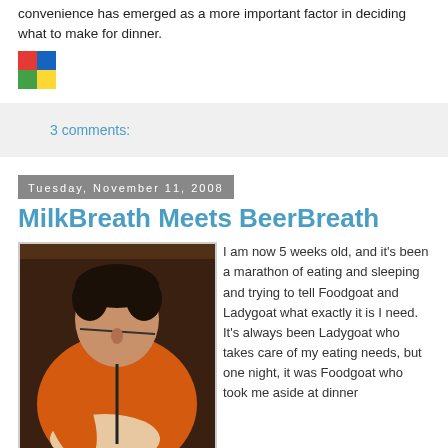convenience has emerged as a more important factor in deciding what to make for dinner.
[Figure (logo): Colorful pinwheel/windmill logo with red, blue, green, and yellow segments]
3 comments:
Tuesday, November 11, 2008
MilkBreath Meets BeerBreath
[Figure (photo): A man in an orange shirt feeding a baby with a bottle]
I am now 5 weeks old, and it's been a marathon of eating and sleeping and trying to tell Foodgoat and Ladygoat what exactly it is I need. It's always been Ladygoat who takes care of my eating needs, but one night, it was Foodgoat who took me aside at dinner